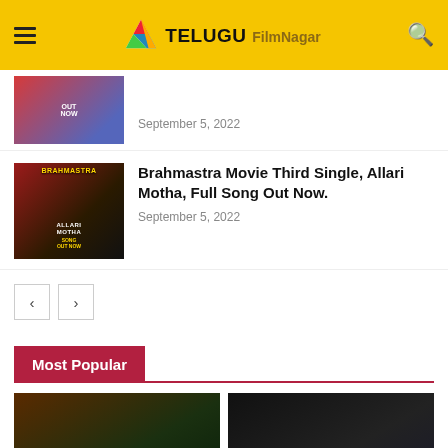Telugu FilmNagar
September 5, 2022
Brahmastra Movie Third Single, Allari Motha, Full Song Out Now.
September 5, 2022
Most Popular
[Figure (photo): Brahmastra movie Allari Motha song out now promotional thumbnail]
[Figure (photo): Movie Review card image]
[Figure (photo): Public Talk card image]